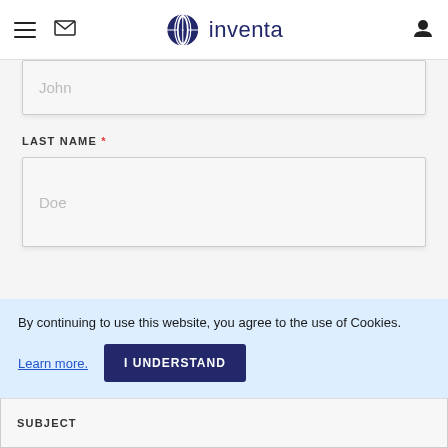inventa — navigation header with hamburger menu, mail icon, logo, and user icon
John (placeholder, partially visible input field)
LAST NAME *
Doe (placeholder input)
EMAIL *
your@email.com (placeholder input)
PHONE
By continuing to use this website, you agree to the use of Cookies.
Learn more.
I UNDERSTAND
SUBJECT